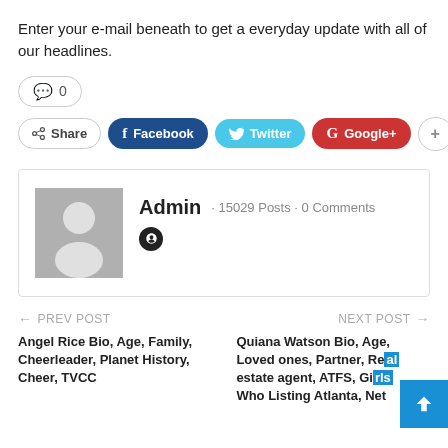Enter your e-mail beneath to get a everyday update with all of our headlines.
💬 0
Share  Facebook  Twitter  Google+  +
Admin · 15029 Posts · 0 Comments
← PREV POST
Angel Rice Bio, Age, Family, Cheerleader, Planet History, Cheer, TVCC
NEXT POST →
Quiana Watson Bio, Age, Loved ones, Partner, Real estate agent, ATFS, Girls Who Listing Atlanta, Net